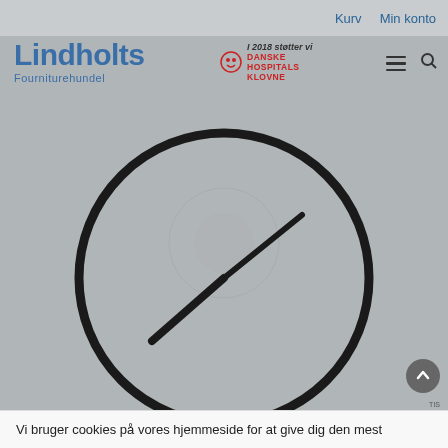Kurv   Min konto
[Figure (logo): Lindholts Fourniturehundel logo with blue text]
[Figure (logo): I 2018 støtter vi Danske Hospitals Klovne charity logo with clown icon]
[Figure (illustration): Minimalist wall clock with black circular rim and two clock hands on grey background]
Vi bruger cookies på vores hjemmeside for at give dig den mest